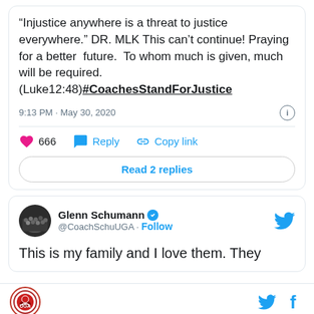“Injustice anywhere is a threat to justice everywhere.” DR. MLK This can’t continue! Praying for a better  future.  To whom much is given, much will be required. (Luke12:48)#CoachesStandForJustice
9:13 PM · May 30, 2020
666   Reply   Copy link
Read 2 replies
Glenn Schumann @CoachSchuUGA · Follow
This is my family and I love them. They